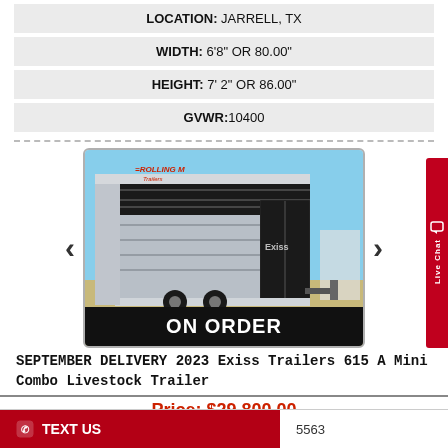LOCATION: JARRELL, TX
WIDTH: 6'8" OR 80.00"
HEIGHT: 7' 2" OR 86.00"
GVWR:10400
[Figure (photo): Photo of a 2023 Exiss Trailers 615 A Mini Combo Livestock Trailer, black and aluminum, parked outdoors. Overlaid with Rolling M Trailers logo and 'ON ORDER' banner at the bottom.]
SEPTEMBER DELIVERY 2023 Exiss Trailers 615 A Mini Combo Livestock Trailer
Price: $29,800.00
TEXT US
5563